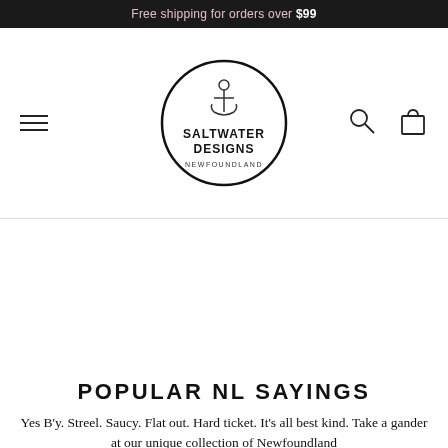Free shipping for orders over $99
[Figure (logo): Saltwater Designs Newfoundland circular logo with anchor icon]
POPULAR NL SAYINGS
Yes B'y. Streel. Saucy. Flat out. Hard ticket. It's all best kind. Take a gander at our unique collection of Newfoundland inspired products.